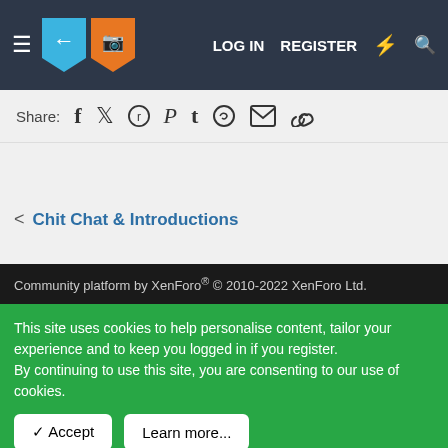LOG IN  REGISTER
Share:
Community platform by XenForo® © 2010-2022 XenForo Ltd.
Chit Chat & Introductions
This site uses cookies to help personalise content, tailor your experience and to keep you logged in if you register.
By continuing to use this site, you are consenting to our use of cookies.
Don't enjoy ads on the forum? Remove them ALL with a premium membership!